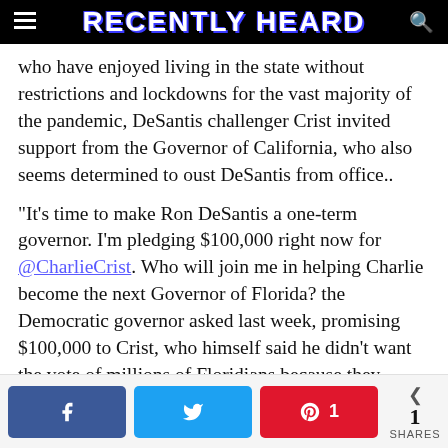RECENTLY HEARD
who have enjoyed living in the state without restrictions and lockdowns for the vast majority of the pandemic, DeSantis challenger Crist invited support from the Governor of California, who also seems determined to oust DeSantis from office.. “It’s time to make Ron DeSantis a one-term governor. I’m pledging $100,000 right now for @CharlieCrist. Who will join me in helping Charlie become the next Governor of Florida? the Democratic governor asked last week, promising $100,000 to Crist, who himself said he didn’t want the vote of millions of Floridians because they apparently have “hate” in their hearts for having supported the governor. Crist also agreed with the false language adopted by the radical left, defending President Bide...